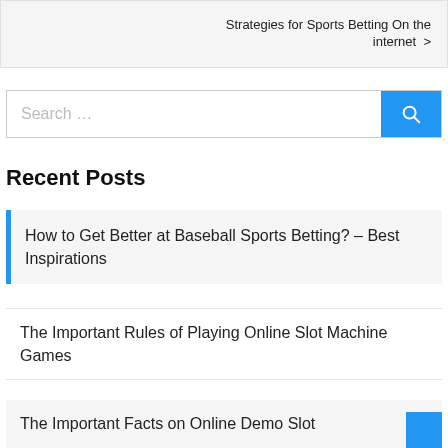Strategies for Sports Betting On the internet >
Search ...
Recent Posts
How to Get Better at Baseball Sports Betting? – Best Inspirations
The Important Rules of Playing Online Slot Machine Games
The Important Facts on Online Demo Slot